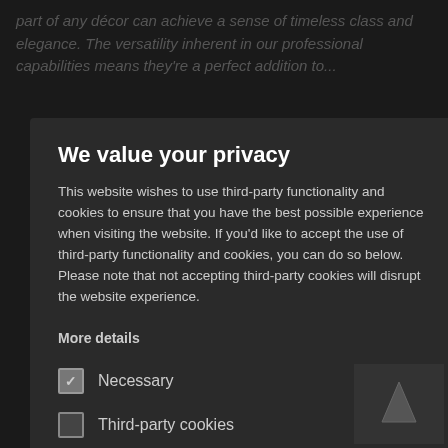We value your privacy
This website wishes to use third-party functionality and cookies to ensure that you have the best possible experience when visiting the website. If you'd like to accept the use of third-party functionality and cookies, you can do so below. Please note that not accepting third-party cookies will disrupt the website experience.
More details
Necessary
Third-party cookies
Accept selected
Accept all